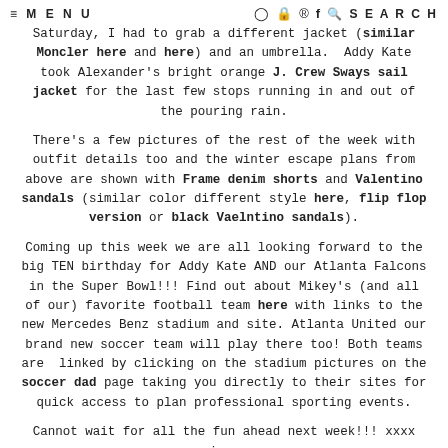≡ MENU   [icons]   🔍 SEARCH
Saturday, I had to grab a different jacket (similar Moncler here and here) and an umbrella. Addy Kate took Alexander's bright orange J. Crew Sways sail jacket for the last few stops running in and out of the pouring rain.
There's a few pictures of the rest of the week with outfit details too and the winter escape plans from above are shown with Frame denim shorts and Valentino sandals (similar color different style here, flip flop version or black Vaelntino sandals).
Coming up this week we are all looking forward to the big TEN birthday for Addy Kate AND our Atlanta Falcons in the Super Bowl!!! Find out about Mikey's (and all of our) favorite football team here with links to the new Mercedes Benz stadium and site. Atlanta United our brand new soccer team will play there too! Both teams are linked by clicking on the stadium pictures on the soccer dad page taking you directly to their sites for quick access to plan professional sporting events.
Cannot wait for all the fun ahead next week!!! xxxx jess